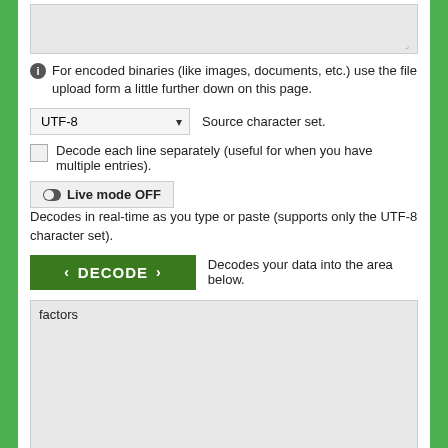[Figure (screenshot): Top textarea input box (empty, gray background) for entering text to decode]
For encoded binaries (like images, documents, etc.) use the file upload form a little further down on this page.
UTF-8 ▾  Source character set.
Decode each line separately (useful for when you have multiple entries).
⊙ Live mode OFF   Decodes in real-time as you type or paste (supports only the UTF-8 character set).
‹ DECODE ›  Decodes your data into the area below.
[Figure (screenshot): Output textarea showing the word 'factors']
Decode files from Base64 format